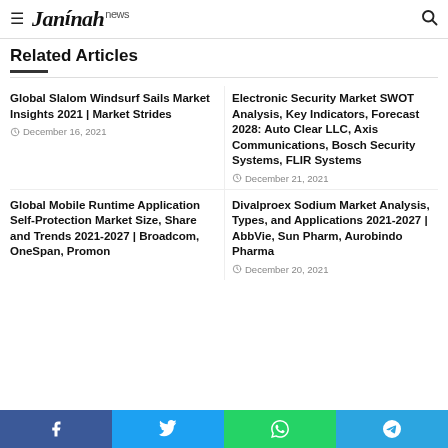Jannah news
Related Articles
Global Slalom Windsurf Sails Market Insights 2021 | Market Strides
Electronic Security Market SWOT Analysis, Key Indicators, Forecast 2028: Auto Clear LLC, Axis Communications, Bosch Security Systems, FLIR Systems
Global Mobile Runtime Application Self-Protection Market Size, Share and Trends 2021-2027 | Broadcom, OneSpan, Promon
Divalproex Sodium Market Analysis, Types, and Applications 2021-2027 | AbbVie, Sun Pharm, Aurobindo Pharma
Facebook Twitter WhatsApp Telegram